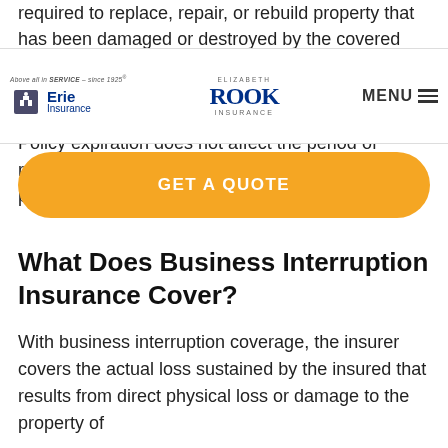required to replace, repair, or rebuild property that has been damaged or destroyed by the covered event. The period of restoration begins when the loss occurs, and it ends when the damaged or lost property has been reasonably repaired or replaced. Policy expiration does not affect the period of restoration, provided the loss occurred while the policy was in effect.
[Figure (logo): Erie Insurance logo with tagline 'Above all in Service - since 1925']
[Figure (logo): Elizabeth Rook Insurance logo]
[Figure (other): Navigation MENU button with hamburger icon]
[Figure (other): GET A QUOTE orange call-to-action button]
What Does Business Interruption Insurance Cover?
With business interruption coverage, the insurer covers the actual loss sustained by the insured that results from direct physical loss or damage to the property of